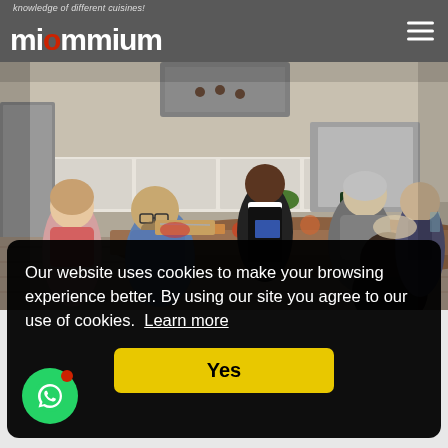knowledge of different cuisines!
miommium
[Figure (photo): Group of people in a modern kitchen taking a cooking class, gathered around a large wooden table with food ingredients, with a chef instructor in a black apron demonstrating]
Our website uses cookies to make your browsing experience better. By using our site you agree to our use of cookies. Learn more
Yes